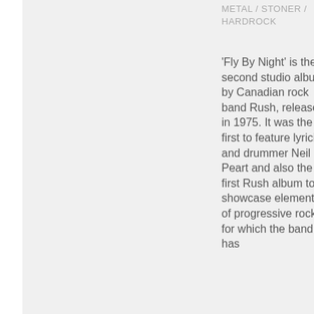METAL / STONER / HARDROCK
'Fly By Night' is the second studio album by Canadian rock band Rush, released in 1975. It was the first to feature lyricist and drummer Neil Peart and also the first Rush album to showcase elements of progressive rock, for which the band has